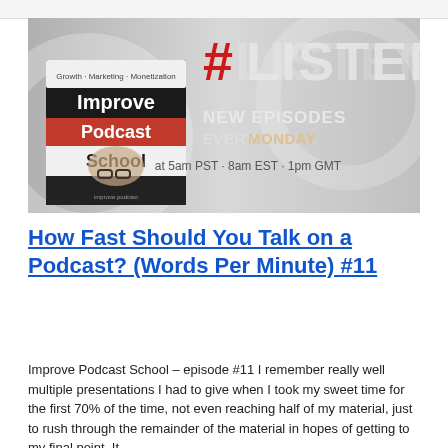[Figure (illustration): Improve Podcast School banner image with text '#LISTEN', 'NEW EPISODES EVERY MONDAY at 5am PST - 8am EST - 1pm GMT', showing a podcast album cover with a man wearing glasses and text 'Growth - Marketing - Monetization Improve Podcast School']
How Fast Should You Talk on a Podcast? (Words Per Minute) #11
Improve Podcast School – episode #11 I remember really well multiple presentations I had to give when I took my sweet time for the first 70% of the time, not even reaching half of my material, just to rush through the remainder of the material in hopes of getting to my final point. It